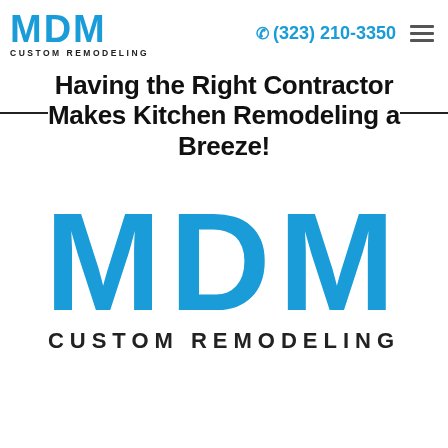MDM CUSTOM REMODELING | (323) 210-3350
Having the Right Contractor Makes Kitchen Remodeling a Breeze!
[Figure (logo): MDM Custom Remodeling logo — large blue bold letters 'MDM' above black bold text 'CUSTOM REMODELING']